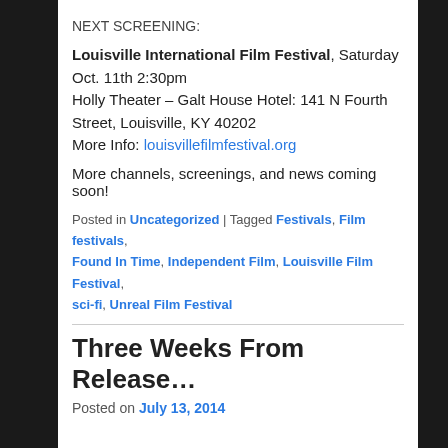NEXT SCREENING:
Louisville International Film Festival, Saturday Oct. 11th 2:30pm
Holly Theater – Galt House Hotel: 141 N Fourth Street, Louisville, KY 40202
More Info: louisvillefilmfestival.org
More channels, screenings, and news coming soon!
Posted in Uncategorized | Tagged Festivals, Film festivals, Found In Time, Independent Film, Louisville Film Festival, sci-fi, Unreal Film Festival
Three Weeks From Release…
Posted on July 13, 2014